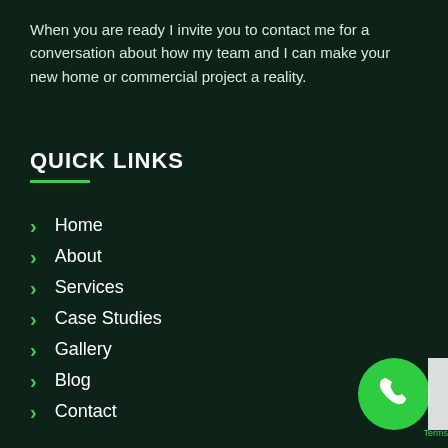When you are ready I invite you to contact me for a conversation about how my team and I can make your new home or commercial project a reality.
QUICK LINKS
Home
About
Services
Case Studies
Gallery
Blog
Contact
[Figure (illustration): Green circular phone/call button icon with white phone handset symbol, bottom right corner. Partial white strip on far right edge with 'Terms' text.]